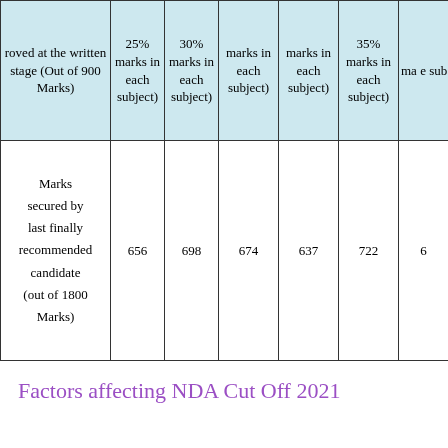| roved at the written stage (Out of 900 Marks) | 25% marks in each subject) | 30% marks in each subject) | marks in each subject) | marks in each subject) | 35% marks in each subject) | ma e sub |
| --- | --- | --- | --- | --- | --- | --- |
| Marks secured by last finally recommended candidate (out of 1800 Marks) | 656 | 698 | 674 | 637 | 722 | 6 |
Factors affecting NDA Cut Off 2021